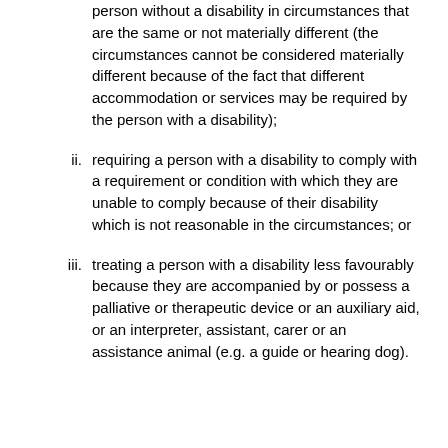person without a disability in circumstances that are the same or not materially different (the circumstances cannot be considered materially different because of the fact that different accommodation or services may be required by the person with a disability);
ii. requiring a person with a disability to comply with a requirement or condition with which they are unable to comply because of their disability which is not reasonable in the circumstances; or
iii. treating a person with a disability less favourably because they are accompanied by or possess a palliative or therapeutic device or an auxiliary aid, or an interpreter, assistant, carer or an assistance animal (e.g. a guide or hearing dog).